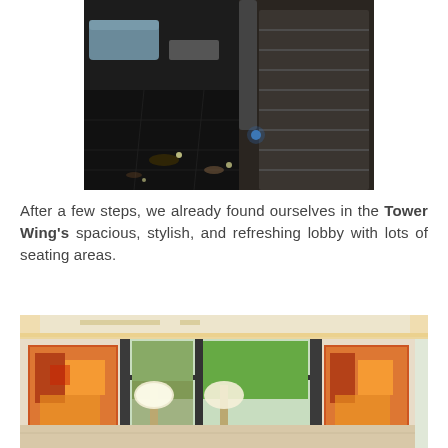[Figure (photo): Dark marble-floored hotel lobby area with a moving escalator/travelator on the right, blue sofa seating visible in the background upper left, warm ambient lighting reflected on the shiny black floor tiles.]
After a few steps, we already found ourselves in the Tower Wing's spacious, stylish, and refreshing lobby with lots of seating areas.
[Figure (photo): Bright hotel lobby interior with warm ceiling lighting, large windows showing greenery outside, colorful abstract orange/red wall art panels, white floor lamps, and a glimpse of seating areas.]